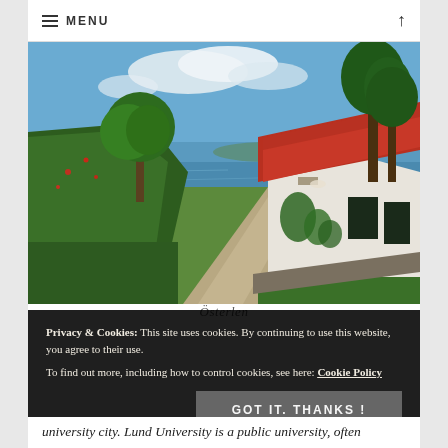MENU
[Figure (photo): Scenic rural coastal path in Österlen, Sweden — a gravel road leads toward the sea with lush green hedges on the left and a traditional white Swedish farmhouse with red tile roof on the right, large trees in the background, blue sky with clouds]
Österlen
Privacy & Cookies: This site uses cookies. By continuing to use this website, you agree to their use.
To find out more, including how to control cookies, see here: Cookie Policy
GOT IT. THANKS !
university city. Lund University is a public university, often